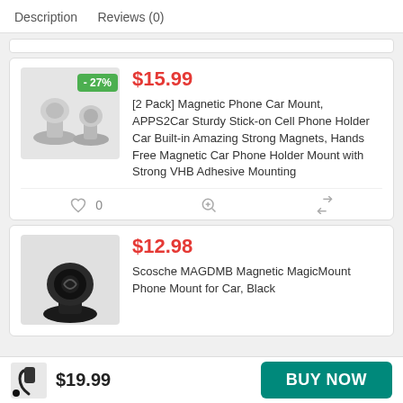Description   Reviews (0)
[Figure (photo): Two silver/gray magnetic phone car mount holders with suction cup bases]
$15.99
[2 Pack] Magnetic Phone Car Mount, APPS2Car Sturdy Stick-on Cell Phone Holder Car Built-in Amazing Strong Magnets, Hands Free Magnetic Car Phone Holder Mount with Strong VHB Adhesive Mounting
[Figure (photo): Black Scosche magnetic phone car mount with suction cup base]
$12.98
Scosche MAGDMB Magnetic MagicMount Phone Mount for Car, Black
[Figure (photo): Black flexible gooseneck phone car mount]
$19.99
BUY NOW